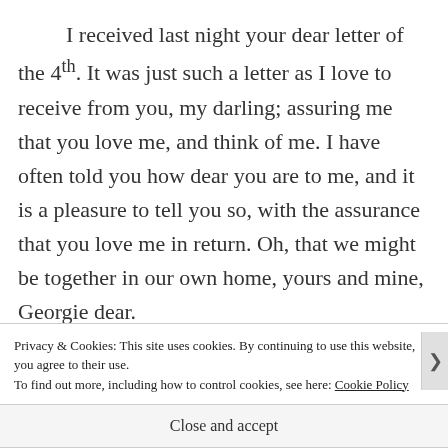I received last night your dear letter of the 4th. It was just such a letter as I love to receive from you, my darling; assuring me that you love me, and think of me. I have often told you how dear you are to me, and it is a pleasure to tell you so, with the assurance that you love me in return. Oh, that we might be together in our own home, yours and mine, Georgie dear.
Privacy & Cookies: This site uses cookies. By continuing to use this website, you agree to their use.
To find out more, including how to control cookies, see here: Cookie Policy
Close and accept